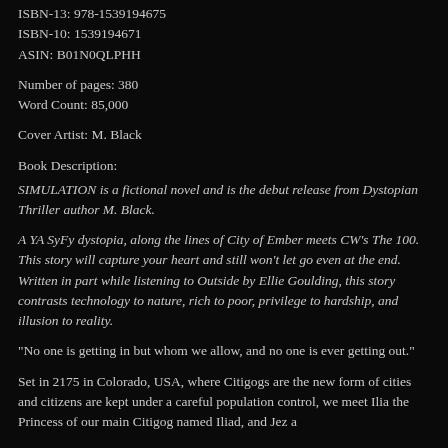ISBN-13: 978-1539194675
ISBN-10: 1539194671
ASIN: B01N0QLPHH
Number of pages: 380
Word Count: 85,000
Cover Artist: M. Black
Book Description:
SIMULATION is a fictional novel and is the debut release from Dystopian Thriller author M. Black.
A YA SyFy dystopia, along the lines of City of Ember meets CW’s The 100. This story will capture your heart and still won’t let go even at the end. Written in part while listening to Outside by Ellie Goulding, this story contrasts technology to nature, rich to poor, privilege to hardship, and illusion to reality.
“No one is getting in but whom we allow, and no one is ever getting out.”
Set in 2175 in Colorado, USA, where Citigogs are the new form of cities and citizens are kept under a careful population control, we meet Ilia the Princess of our main Citigog named Iliad, and Jez a